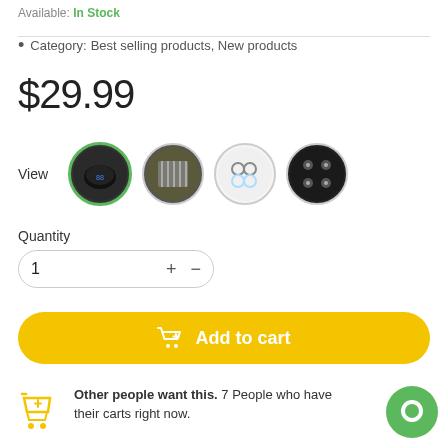Available: In Stock
Category: Best selling products, New products
$29.99
View
[Figure (photo): Four circular thumbnail images of product variants]
Quantity
1 + -
Add to cart
Other people want this. 7 People who have their carts right now.